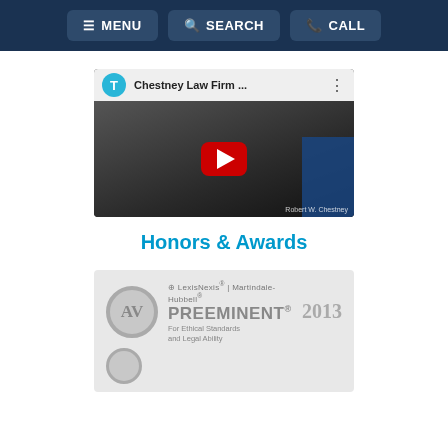MENU  SEARCH  CALL
[Figure (screenshot): YouTube video thumbnail for Chestney Law Firm with play button overlay, showing Robert W. Chestney]
Honors & Awards
[Figure (logo): LexisNexis Martindale-Hubbell AV Preeminent 2013 badge for Ethical Standards and Legal Ability]